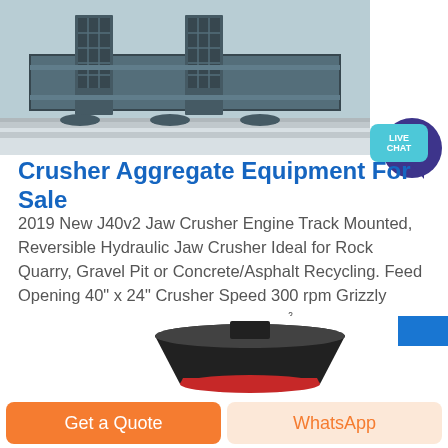[Figure (photo): Industrial jaw crusher equipment mounted on a track/frame, viewed from above on a concrete floor]
Crusher Aggregate Equipment For Sale
2019 New J40v2 Jaw Crusher Engine Track Mounted, Reversible Hydraulic Jaw Crusher Ideal for Rock Quarry, Gravel Pit or Concrete/Asphalt Recycling. Feed Opening 40" x 24" Crusher Speed 300 rpm Grizzly Feeder 12'7" x 37'4" Hopper Volume ³ Stockpile Heigh...
GET PRICE
[Figure (photo): Bottom portion of a cone crusher machine, dark colored with red accent ring]
Get a Quote
WhatsApp